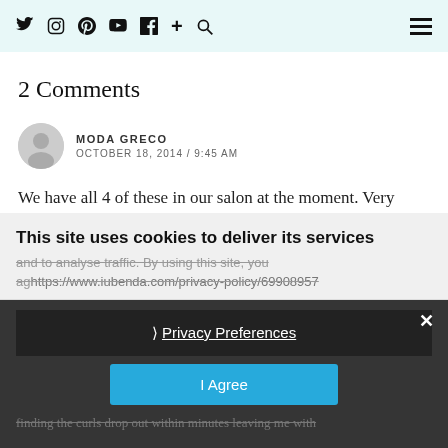Social icons: Twitter, Instagram, Pinterest, YouTube, Facebook, +, Search | Hamburger menu
2 Comments
MODA GRECO
OCTOBER 18, 2014 / 9:45 AM
We have all 4 of these in our salon at the moment. Very
This site uses cookies to deliver its services and to analyse traffic. By using this site, you ag...
https://www.iubenda.com/privacy-policy/69908957
❯ Privacy Preferences
I Agree
finding the curls drop out within minutes leaving me with